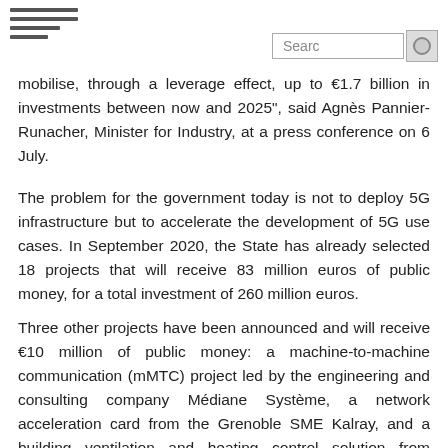[hamburger menu icon] [Search bar]
mobilise, through a leverage effect, up to €1.7 billion in investments between now and 2025", said Agnès Pannier-Runacher, Minister for Industry, at a press conference on 6 July.
The problem for the government today is not to deploy 5G infrastructure but to accelerate the development of 5G use cases. In September 2020, the State has already selected 18 projects that will receive 83 million euros of public money, for a total investment of 260 million euros.
Three other projects have been announced and will receive €10 million of public money: a machine-to-machine communication (mMTC) project led by the engineering and consulting company Médiane Système, a network acceleration card from the Grenoble SME Kalray, and a building ventilation and heating control solution from another Grenoble SME, Adeunis.
The public funds will come from France Relance, the plan to support the economy after the Covid-19 crisis, and the 4th programme for future